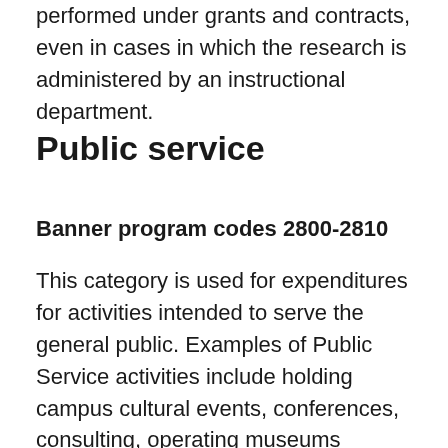performed under grants and contracts, even in cases in which the research is administered by an instructional department.
Public service
Banner program codes 2800-2810
This category is used for expenditures for activities intended to serve the general public. Examples of Public Service activities include holding campus cultural events, conferences, consulting, operating museums intended primarily for the public, and providing Cooperative Extension.